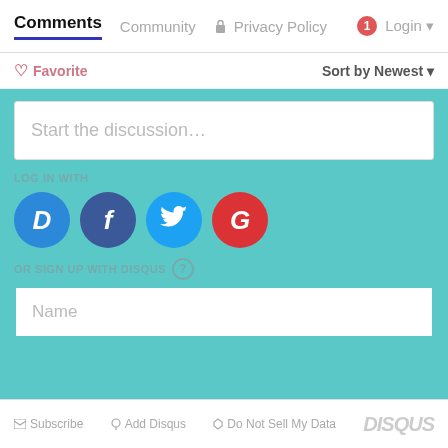Comments  Community  Privacy Policy  1  Login
Favorite  Sort by Newest
Start the discussion…
LOG IN WITH
[Figure (logo): Social login icons: Disqus (D), Facebook (f), Twitter bird, Google (G)]
OR SIGN UP WITH DISQUS ?
Name
Be the first to comment.
Subscribe  Add Disqus  Do Not Sell My Data  DISQUS